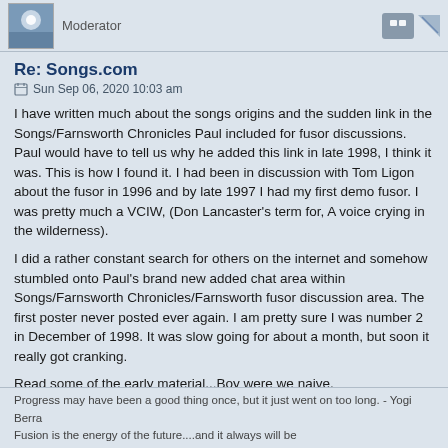Moderator
Re: Songs.com
Sun Sep 06, 2020 10:03 am
I have written much about the songs origins and the sudden link in the Songs/Farnsworth Chronicles Paul included for fusor discussions. Paul would have to tell us why he added this link in late 1998, I think it was. This is how I found it. I had been in discussion with Tom Ligon about the fusor in 1996 and by late 1997 I had my first demo fusor. I was pretty much a VCIW, (Don Lancaster's term for, A voice crying in the wilderness).
I did a rather constant search for others on the internet and somehow stumbled onto Paul's brand new added chat area within Songs/Farnsworth Chronicles/Farnsworth fusor discussion area. The first poster never posted ever again. I am pretty sure I was number 2 in December of 1998. It was slow going for about a month, but soon it really got cranking.
Read some of the early material...Boy were we naive.
Richard Hull
Progress may have been a good thing once, but it just went on too long. - Yogi Berra
Fusion is the energy of the future....and it always will be